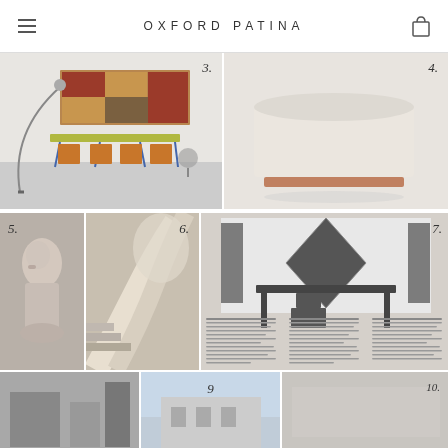OXFORD PATINA
[Figure (photo): Interior room with wall-mounted wooden shelving unit, yellow/green dining table, orange chairs with blue legs, arc floor lamp. Numbered 3.]
[Figure (photo): Cream/beige upholstered armless chair or daybed on a light copper/wood base against white background. Numbered 4.]
[Figure (photo): Abstract stone or ceramic sculpture of a horse head/figure, pale pink/beige color. Numbered 5.]
[Figure (photo): Architectural interior with curved white staircase and abstract organic forms. Numbered 6.]
[Figure (photo): Black and white photo of a modernist desk/vanity with geometric black decorative panels, with text columns below. Numbered 7.]
[Figure (photo): Partial image — black and white architectural or industrial scene. Numbered 8 (implied).]
[Figure (photo): Partial image — sky and building, light blue tones. Numbered 9.]
[Figure (photo): Partial image — light grey/neutral. Numbered 10.]